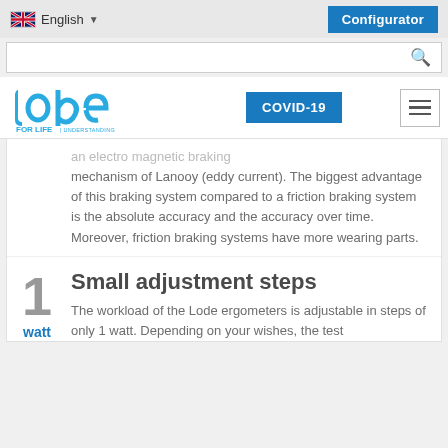English | Configurator
an electro magnetic braking mechanism of Lanooy (eddy current). The biggest advantage of this braking system compared to a friction braking system is the absolute accuracy and the accuracy over time. Moreover, friction braking systems have more wearing parts.
Small adjustment steps
The workload of the Lode ergometers is adjustable in steps of only 1 watt. Depending on your wishes, the test